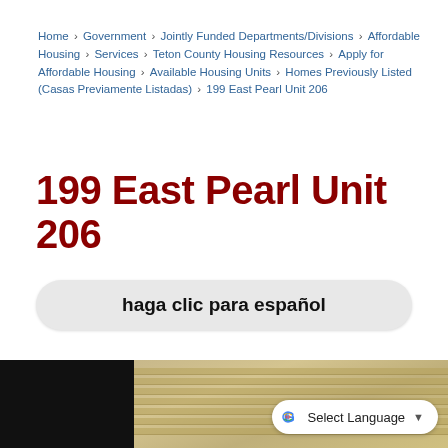Home › Government › Jointly Funded Departments/Divisions › Affordable Housing › Services › Teton County Housing Resources › Apply for Affordable Housing › Available Housing Units › Homes Previously Listed (Casas Previamente Listadas) › 199 East Pearl Unit 206
199 East Pearl Unit 206
haga clic para español
[Figure (photo): Interior room photo showing horizontal window blinds, with a dark/black section on the left side and warm tan/golden tones on the right. A Google Translate widget appears in the lower right corner.]